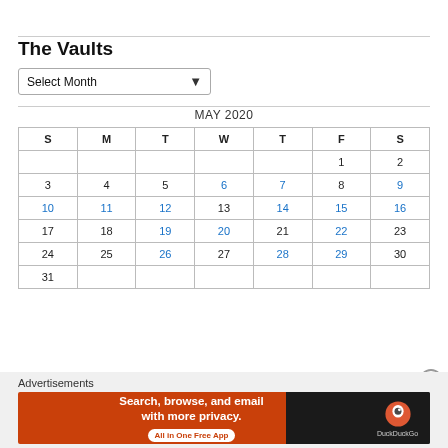The Vaults
Select Month
| S | M | T | W | T | F | S |
| --- | --- | --- | --- | --- | --- | --- |
|  |  |  |  |  | 1 | 2 |
| 3 | 4 | 5 | 6 | 7 | 8 | 9 |
| 10 | 11 | 12 | 13 | 14 | 15 | 16 |
| 17 | 18 | 19 | 20 | 21 | 22 | 23 |
| 24 | 25 | 26 | 27 | 28 | 29 | 30 |
| 31 |  |  |  |  |  |  |
Advertisements
[Figure (infographic): DuckDuckGo advertisement banner: Search, browse, and email with more privacy. All in One Free App]